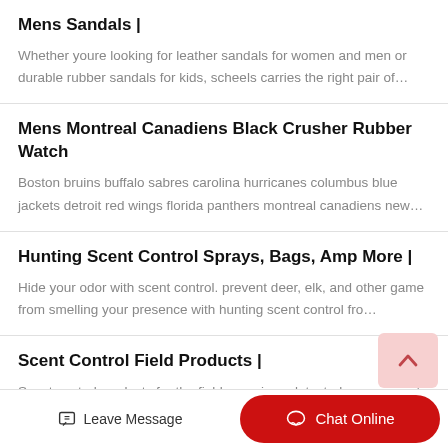Mens Sandals |
Whether youre looking for leather sandals for women and men or durable rubber sandals for kids, scheels carries the right pair of…
Mens Montreal Canadiens Black Crusher Rubber Watch
Boston bruins buffalo sabres carolina hurricanes columbus blue jackets detroit red wings florida panthers montreal canadiens new…
Hunting Scent Control Sprays, Bags, Amp More |
Hide your odor with scent control. prevent deer, elk, and other game from smelling your presence with hunting scent control fro…
Scent Control Field Products |
Scent control products for the field. remain undetected on your next
Leave Message
Chat Online